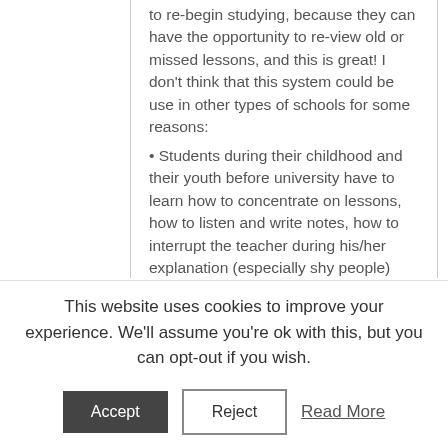to re-begin studying, because they can have the opportunity to re-view old or missed lessons, and this is great! I don't think that this system could be use in other types of schools for some reasons:
• Students during their childhood and their youth before university have to learn how to concentrate on lessons, how to listen and write notes, how to interrupt the teacher during his/her explanation (especially shy people) and they must learn to store the most notions and concepts they can.
• With Khan's method all it is focused on doing homework and clarifying the doubts in class, but normally students ask teachers to help them on doing a particular function (for example) or how they have to answer correctly to a question in literature, … students aren't forgotten by teachers
This website uses cookies to improve your experience. We'll assume you're ok with this, but you can opt-out if you wish.